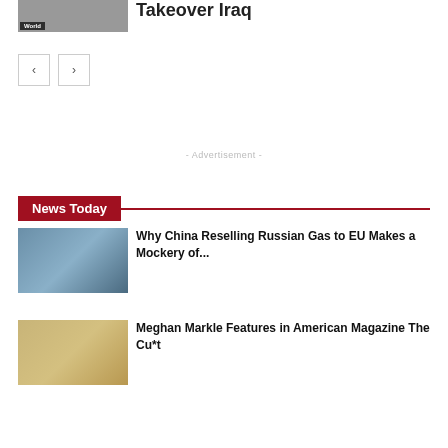Takeover Iraq
[Figure (photo): Thumbnail image with World badge label]
[Figure (other): Navigation prev/next buttons]
- Advertisement -
News Today
[Figure (photo): Aerial view of port/harbor with ship]
Why China Reselling Russian Gas to EU Makes a Mockery of...
[Figure (photo): Woman reclining in ornate room]
Meghan Markle Features in American Magazine The Cu*t